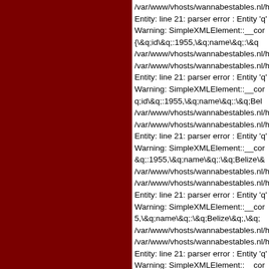[Figure (other): Dark red / maroon background panel on the left side of the page]
/var/www/vhosts/wannabestables.nl/h
Entity: line 21: parser error : Entity 'q'
Warning: SimpleXMLElement::__cor
{\&q;id\&q;:1955,\&q;name\&q;:\&q
/var/www/vhosts/wannabestables.nl/h
/var/www/vhosts/wannabestables.nl/h
Entity: line 21: parser error : Entity 'q'
Warning: SimpleXMLElement::__cor
q;id\&q;:1955,\&q;name\&q;:\&q;Bel
/var/www/vhosts/wannabestables.nl/h
/var/www/vhosts/wannabestables.nl/h
Entity: line 21: parser error : Entity 'q'
Warning: SimpleXMLElement::__cor
&q;:1955,\&q;name\&q;:\&q;Belize\&
/var/www/vhosts/wannabestables.nl/h
/var/www/vhosts/wannabestables.nl/h
Entity: line 21: parser error : Entity 'q'
Warning: SimpleXMLElement::__cor
5,\&q;name\&q;:\&q;Belize\&q;,\&q;
/var/www/vhosts/wannabestables.nl/h
/var/www/vhosts/wannabestables.nl/h
Entity: line 21: parser error : Entity 'q'
Warning: SimpleXMLElement::__cor
;name\&q;:\&q;Belize\&q;,\&q;codea
/var/www/vhosts/wannabestables.nl/h
/var/www/vhosts/wannabestables.nl/h